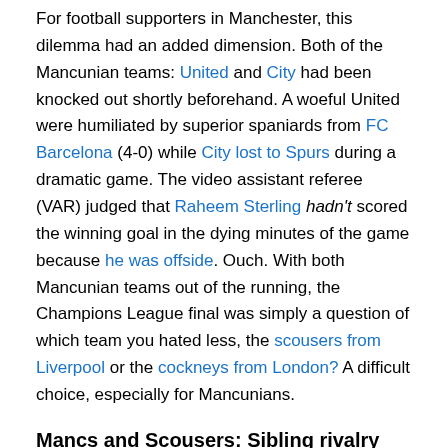For football supporters in Manchester, this dilemma had an added dimension. Both of the Mancunian teams: United and City had been knocked out shortly beforehand. A woeful United were humiliated by superior spaniards from FC Barcelona (4-0) while City lost to Spurs during a dramatic game. The video assistant referee (VAR) judged that Raheem Sterling hadn't scored the winning goal in the dying minutes of the game because he was offside. Ouch. With both Mancunian teams out of the running, the Champions League final was simply a question of which team you hated less, the scousers from Liverpool or the cockneys from London? A difficult choice, especially for Mancunians.
Mancs and Scousers: Sibling rivalry